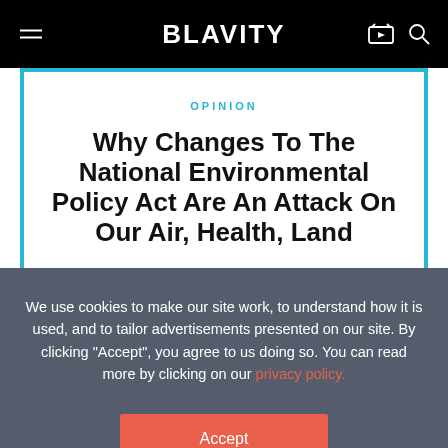BLAVITY
OPINION
Why Changes To The National Environmental Policy Act Are An Attack On Our Air, Health, Land
We use cookies to make our site work, to understand how it is used, and to tailor advertisements presented on our site. By clicking "Accept", you agree to us doing so. You can read more by clicking on our privacy policy.